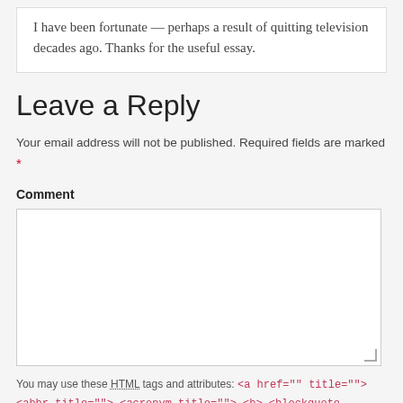I have been fortunate — perhaps a result of quitting television decades ago. Thanks for the useful essay.
Leave a Reply
Your email address will not be published. Required fields are marked *
Comment
You may use these HTML tags and attributes: <a href="" title=""> <abbr title=""> <acronym title=""> <b> <blockquote cite=""> <cite> <code> <del datetime="">